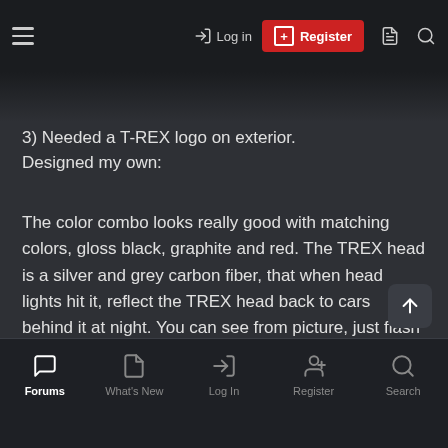Log in  Register
3) Needed a T-REX logo on exterior.
Designed my own:
The color combo looks really good with matching colors, gloss black, graphite and red. The TREX head is a silver and grey carbon fiber, that when head lights hit it, reflect the TREX head back to cars behind it at night. You can see from picture, just flash of smart phone, its sorta glowing in daylight.
Forums  What's New  Log In  Register  Search